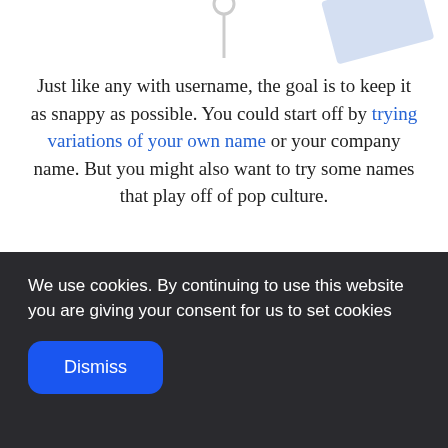[Figure (illustration): Partial illustration at the top of the page showing decorative geometric shapes in light blue on a white background, partially cropped.]
Just like any with username, the goal is to keep it as snappy as possible. You could start off by trying variations of your own name or your company name. But you might also want to try some names that play off of pop culture.
We use cookies. By continuing to use this website you are giving your consent for us to set cookies